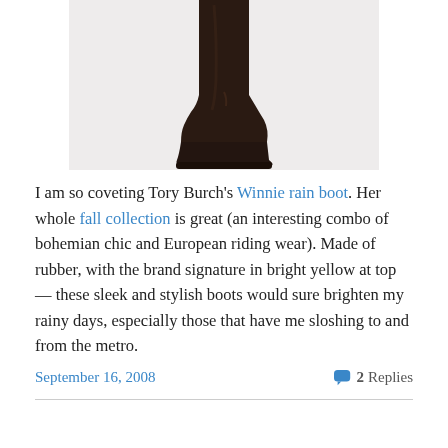[Figure (photo): A dark brown tall leather riding boot (Tory Burch Winnie rain boot) photographed against a light grey background, showing the boot from just above the knee down to the sole.]
I am so coveting Tory Burch's Winnie rain boot. Her whole fall collection is great (an interesting combo of bohemian chic and European riding wear). Made of rubber, with the brand signature in bright yellow at top — these sleek and stylish boots would sure brighten my rainy days, especially those that have me sloshing to and from the metro.
September 16, 2008   2 Replies